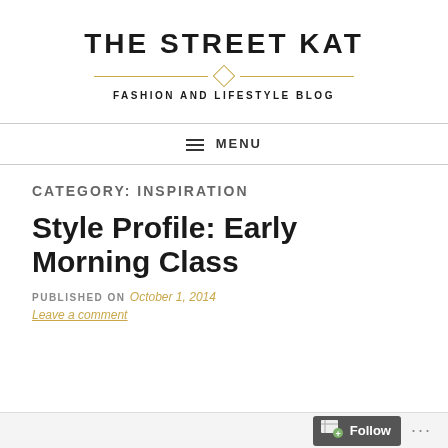THE STREET KAT
FASHION AND LIFESTYLE BLOG
≡ MENU
CATEGORY: INSPIRATION
Style Profile: Early Morning Class
PUBLISHED ON October 1, 2014
Leave a comment